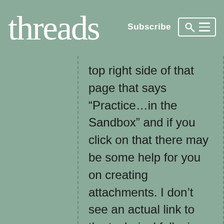threads  Subscribe
top right side of that page that says “Practice…in the Sandbox” and if you click on that there may be some help for you on creating attachments. I don’t see an actual link to the technical folks in the Sandbox, now, but in the past I’ve managed to contact them by e-mail when I was having